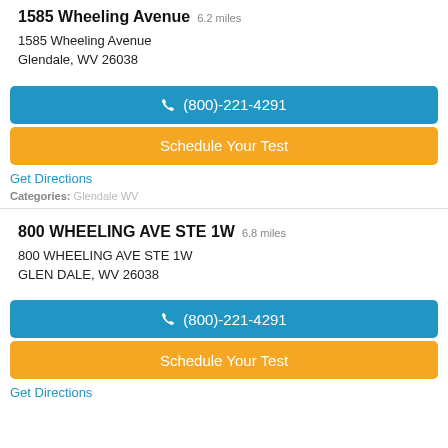1585 Wheeling Avenue 6.2 miles
1585 Wheeling Avenue
Glendale, WV 26038
(800)-221-4291
Schedule Your Test
Get Directions
Categories: Glendale WV
800 WHEELING AVE STE 1W 6.8 miles
800 WHEELING AVE STE 1W
GLEN DALE, WV 26038
(800)-221-4291
Schedule Your Test
Get Directions